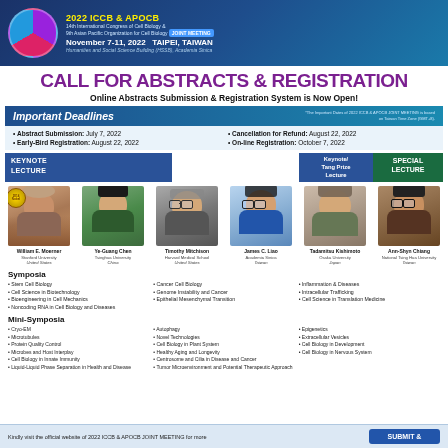2022 ICCB & APOCB 14th International Congress of Cell Biology & 9th Asian Pacific Organization for Cell Biology JOINT MEETING November 7-11, 2022 TAIPEI, TAIWAN Humanities and Social Science Building (HSSB), Academia Sinica
CALL FOR ABSTRACTS & REGISTRATION
Online Abstracts Submission & Registration System is Now Open!
Important Deadlines
*The Important Dates of 2022 ICCB & APOCB JOINT MEETING is based on Taiwan Time Zone (GMT+8).
Abstract Submission: July 7, 2022
Early-Bird Registration: August 22, 2022
Cancellation for Refund: August 22, 2022
On-line Registration: October 7, 2022
KEYNOTE LECTURE
Keynote/ Tang Prize Lecture
SPECIAL LECTURE
[Figure (photo): Six speaker photos: William E. Moerner (Stanford University, United States), Ye-Guang Chen (Tsinghua University, China), Timothy Mitchison (Harvard Medical School, United States), James C. Liao (Academia Sinica, Taiwan), Tadamitsu Kishimoto (Osaka University, Japan), Ann-Shyn Chiang (National Tsing Hua University, Taiwan)]
Symposia
Stem Cell Biology
Cell Science in Biotechnology
Bioengineering in Cell Mechanics
Noncoding RNA in Cell Biology and Diseases
Cancer Cell Biology
Genome Instability and Cancer
Epithelial Mesenchymal Transition
Inflammation & Diseases
Intracellular Trafficking
Cell Science in Translation Medicine
Mini-Symposia
Cryo-EM
Microtubules
Protein Quality Control
Microbes and Host Interplay
Cell Biology in Innate Immunity
Liquid-Liquid Phase Separation in Health and Disease
Autophagy
Novel Technologies
Cell Biology in Plant System
Healthy Aging and Longevity
Centrosome and Cilia in Disease and Cancer
Tumor Microenvironment and Potential Therapeutic Approach
Epigenetics
Extracellular Vesicles
Cell Biology in Development
Cell Biology in Nervous System
Kindly visit the official website of 2022 ICCB & APOCB JOINT MEETING for more
SUBMIT &